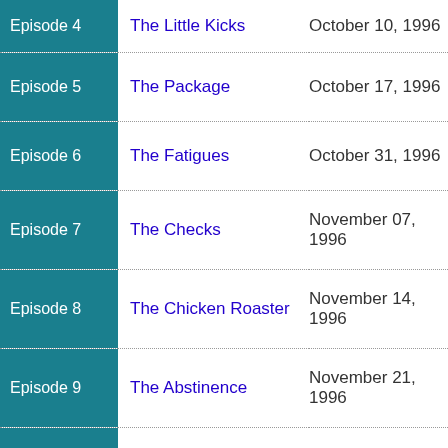| Episode | Title | Air Date |
| --- | --- | --- |
| Episode 4 | The Little Kicks | October 10, 1996 |
| Episode 5 | The Package | October 17, 1996 |
| Episode 6 | The Fatigues | October 31, 1996 |
| Episode 7 | The Checks | November 07, 1996 |
| Episode 8 | The Chicken Roaster | November 14, 1996 |
| Episode 9 | The Abstinence | November 21, 1996 |
| Episode 10 | The Andrea Doria | December 19, 1996 |
| Episode 11 | The... | January ..., 199... |